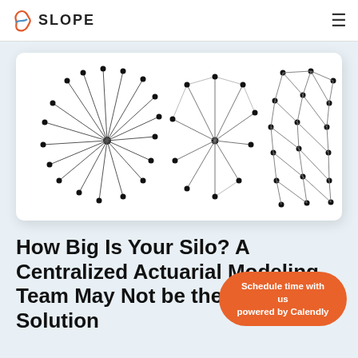SLOPE
[Figure (network-graph): Three network graph diagrams side by side on white background: left shows a star/hub topology with many spokes radiating from a central node, middle shows a smaller hub-and-spoke network with some cross-connections, right shows a mesh/lattice network with many interconnected nodes.]
How Big Is Your Silo? A Centralized Actuarial Modeling Team May Not be the Right Solution
Schedule time with us powered by Calendly